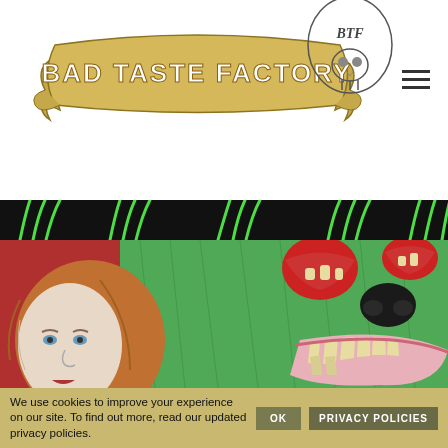[Figure (logo): Bad Taste Factory logo — decorative banner scroll with text 'BAD TASTE FACTORY' and 'BTF' monogram with animal skull illustration]
[Figure (illustration): Illustrated artwork showing a pale woman with red/auburn hair and blue eyes in the foreground, and a large green monster/bear creature with red eyes and open mouth showing teeth on a red background, with stylized green claw marks on black strip above]
We use cookies to improve your experience on our site. To find out more, read our updated privacy policies.
Ok
Privacy Policies